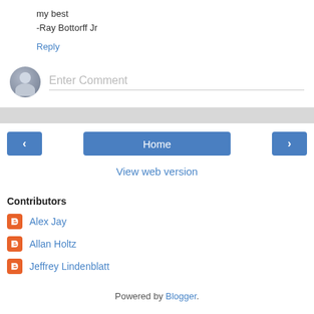my best
-Ray Bottorff Jr
Reply
[Figure (other): User avatar placeholder icon (gray silhouette)]
Enter Comment
< Home >
View web version
Contributors
Alex Jay
Allan Holtz
Jeffrey Lindenblatt
Powered by Blogger.